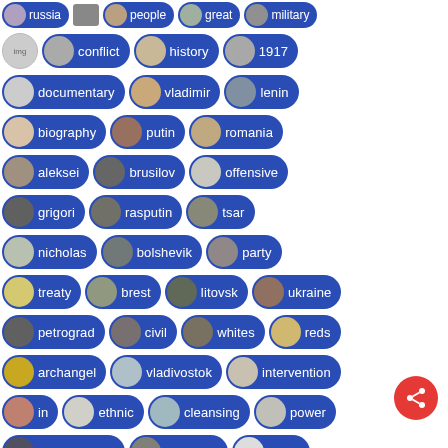[Figure (screenshot): Tag cloud / playlist tag pills with thumbnail images for Russian history topics: russia, people, great, military, conflict, history, 1917, documentary, vladimir, lenin, biography, putin, romania, aleksei, brusilov, offensive, grigori, rasputin, tsar, nicholas, bolshevik, party, treaty, brest, litovsk, ukraine, petrograd, civil, whites, reds, archangel, vladivostok, intervention, in, ethnic, cleansing, power, кинохроника, newsreel, video]